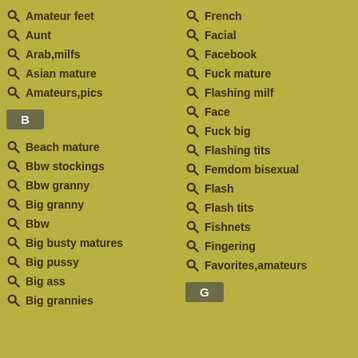Amateur feet
Aunt
Arab,milfs
Asian mature
Amateurs,pics
B
Beach mature
Bbw stockings
Bbw granny
Big granny
Bbw
Big busty matures
Big pussy
Big ass
Big grannies
French
Facial
Facebook
Fuck mature
Flashing milf
Face
Fuck big
Flashing tits
Femdom bisexual
Flash
Flash tits
Fishnets
Fingering
Favorites,amateurs
G